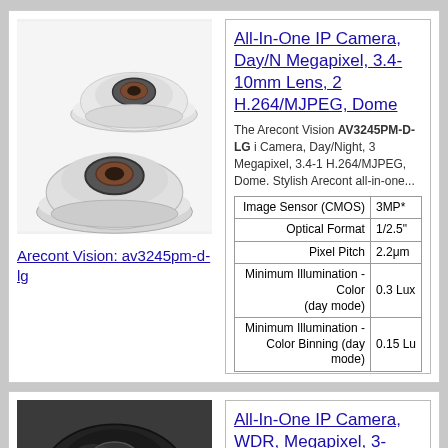[Figure (photo): Two white dome security cameras (Arecont Vision av3245pm-d-lg), one smaller and one larger, viewed from above/side angle on white background]
Arecont Vision: av3245pm-d-lg
All-In-One IP Camera, Day/N Megapixel, 3.4-10mm Lens, 2 H.264/MJPEG, Dome
The Arecont Vision AV3245PM-D-LG i Camera, Day/Night, 3 Megapixel, 3.4-1 H.264/MJPEG, Dome. Stylish Arecont all-in-one...
|  |  |
| --- | --- |
| Image Sensor (CMOS) | 3MP* |
| Optical Format | 1/2.5" |
| Pixel Pitch | 2.2μm |
| Minimum Illumination - Color (day mode) | 0.3 Lux |
| Minimum Illumination - Color Binning (day mode) | 0.15 Lu |
[Figure (photo): Black dome/bullet security camera viewed from below, dark background]
All-In-One IP Camera, WDR, Megapixel, 3-10mm Lens, 21 H.264/MJPEG, D...
The Arecont V... Camera, WDR, Day/Night, 3 Megapixel 21fps, H.264/MJPEG, Dome. Stylish...